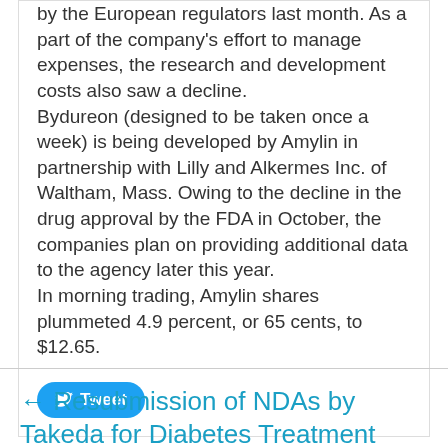by the European regulators last month. As a part of the company's effort to manage expenses, the research and development costs also saw a decline. Bydureon (designed to be taken once a week) is being developed by Amylin in partnership with Lilly and Alkermes Inc. of Waltham, Mass. Owing to the decline in the drug approval by the FDA in October, the companies plan on providing additional data to the agency later this year. In morning trading, Amylin shares plummeted 4.9 percent, or 65 cents, to $12.65.
[Figure (other): Twitter Tweet button (blue rounded rectangle with bird icon and 'Tweet' text)]
← Resubmission of NDAs by Takeda for Diabetes Treatment